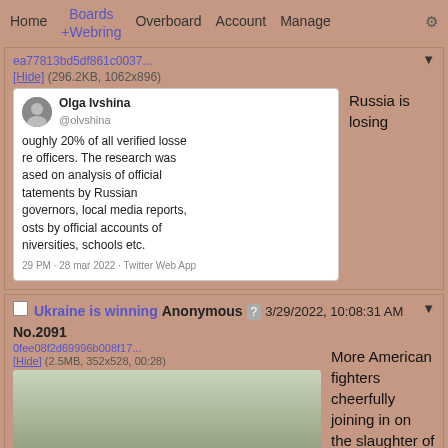Home  Boards +Webring  Overboard  Account  Manage  ⚙
[Figure (screenshot): A tweet from Olga Ivshina (@olvshina) partially visible, stating roughly 20% of all verified losses are officers. The research was based on analysis of official statements by Russian governors, local media reports, posts by official accounts of universities, schools etc. 29 PM · 28 mar 2022 · Twitter Web App]
Russia is losing
Ukraine is winning Anonymous ? 3/29/2022, 10:08:31 AM No.2091
[Figure (screenshot): Video thumbnail showing a soldier in a field, with a play button overlay. File: 0fee08f2d69996b008f17... (2.5MB, 352x528, 00:28)]
More American fighters cheerfully joining in on the slaughter of Russian dogs.